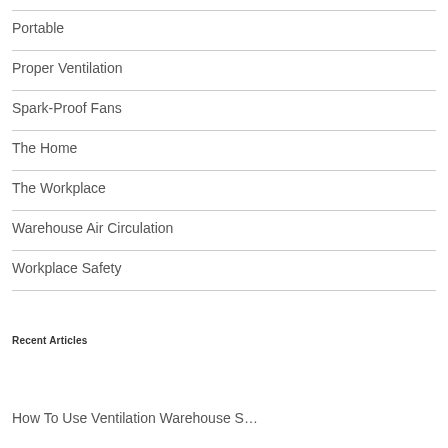Portable
Proper Ventilation
Spark-Proof Fans
The Home
The Workplace
Warehouse Air Circulation
Workplace Safety
Recent Articles
How To Use Ventilation Warehouse S…